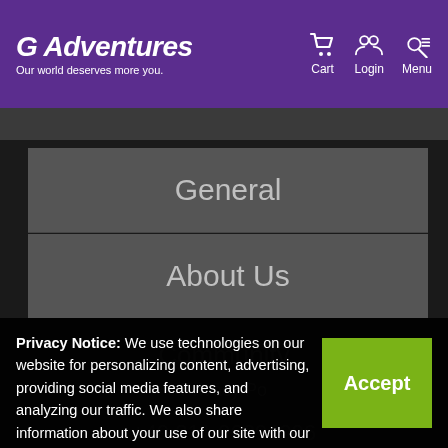G Adventures — Our world deserves more you. | Cart | Login | Menu
General
About Us
Privacy Notice: We use technologies on our website for personalizing content, advertising, providing social media features, and analyzing our traffic. We also share information about your use of our site with our social media, advertising and analytics partners. By continuing to use this website, you consent to our use of this technology. You can control this through your Privacy Options.